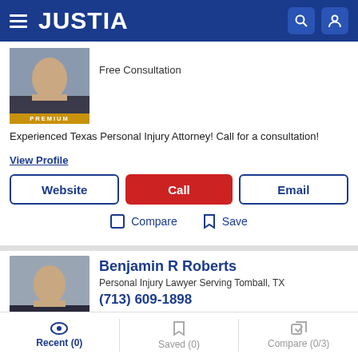JUSTIA
[Figure (photo): Attorney headshot photo with PREMIUM badge]
Free Consultation
Experienced Texas Personal Injury Attorney! Call for a consultation!
View Profile
Website | Call | Email
Compare  Save
[Figure (photo): Benjamin R Roberts headshot photo]
Benjamin R Roberts
Personal Injury Lawyer Serving Tomball, TX
(713) 609-1898
Free Consultation
Recent (0)  Saved (0)  Compare (0/3)